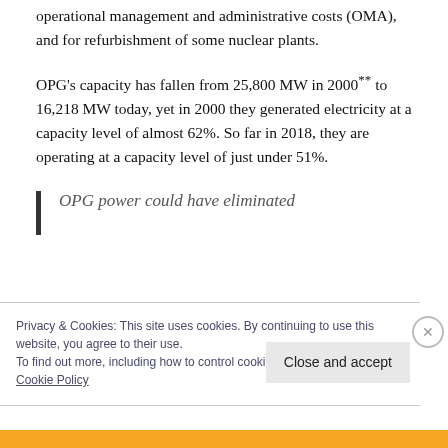operational management and administrative costs (OMA), and for refurbishment of some nuclear plants.
OPG's capacity has fallen from 25,800 MW in 2000** to 16,218 MW today, yet in 2000 they generated electricity at a capacity level of almost 62%. So far in 2018, they are operating at a capacity level of just under 51%.
OPG power could have eliminated
Privacy & Cookies: This site uses cookies. By continuing to use this website, you agree to their use.
To find out more, including how to control cookies, see here:
Cookie Policy
Close and accept